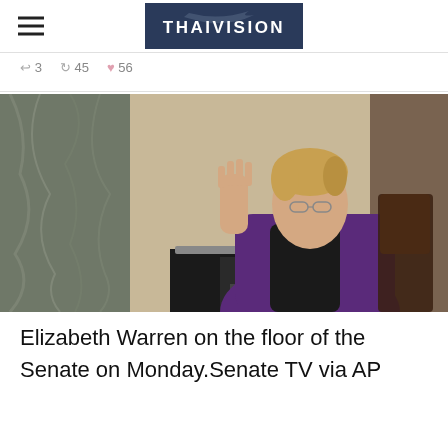THAIVISION
3  45  56
[Figure (photo): Elizabeth Warren standing at a lectern on the floor of the Senate, wearing a purple jacket, with her right hand raised. The background shows marble columns and wood paneling typical of the Senate chamber. Broadcast-style still image from Senate TV.]
Elizabeth Warren on the floor of the Senate on Monday.Senate TV via AP